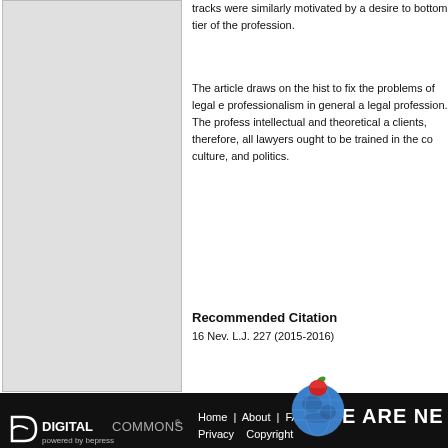[Figure (other): Gray placeholder image panel on the left side]
tracks were similarly motivated by a desire to escape the bottom tier of the profession.
The article draws on the history of past efforts to fix the problems of legal education and professionalism in general and for those in the legal profession. The profession needs both intellectual and theoretical attention to its clients, therefore, all lawyers and law students ought to be trained in the context of society, culture, and politics.
Recommended Citation
16 Nev. L.J. 227 (2015-2016)
[Figure (logo): Globe with apple on top - We Are Nevada branding with black banner]
[Figure (logo): Digital Commons powered by bepress logo]
Home | About | FAQ | My Account  Privacy  Copyright